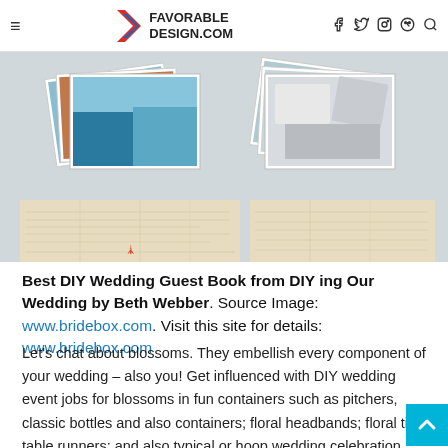≡  FAVORABLE DESIGN.COM  f  𝕏  ◯  ℗  🔍
[Figure (photo): Two stacks of photos with colorful landscape images (blue water, orange rock formations) displayed on a white surface with map-patterned boxes beneath them.]
Best DIY Wedding Guest Book from DIY ing Our Wedding by Beth Webber. Source Image: www.bridebox.com. Visit this site for details: www.bridebox.com
Let's chat about blossoms. They embellish every component of your wedding – also you! Get influenced with DIY wedding event jobs for blossoms in fun containers such as pitchers, classic bottles and also containers; floral headbands; floral tile table runners; and also typical or hoop wedding celebration bouquets. You could likewise try making your own individual paper blossoms in every shade imaginable. Want to make a big